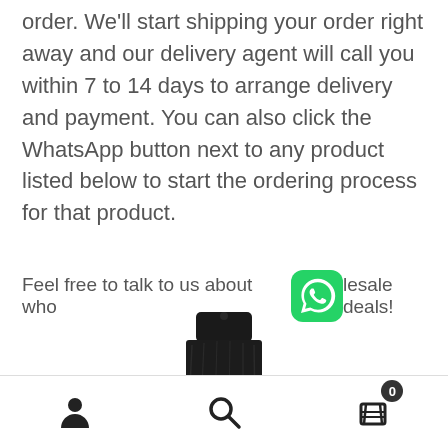order. We'll start shipping your order right away and our delivery agent will call you within 7 to 14 days to arrange delivery and payment. You can also click the WhatsApp button next to any product listed below to start the ordering process for that product.
Feel free to talk to us about wholesale deals!
[Figure (photo): Top portion of a dark/black perfume or luxury product bottle with a gold band accent]
[Figure (illustration): Bottom navigation bar with user profile icon, search icon, and shopping cart icon with badge showing 0]